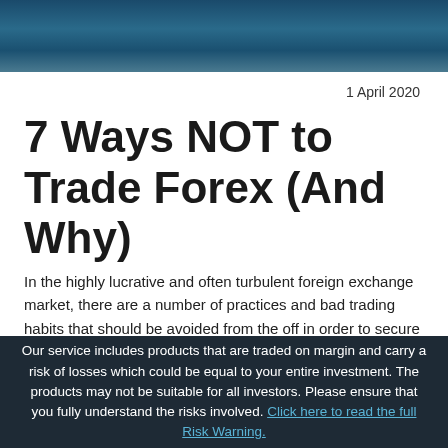[Figure (photo): Dark teal/blue header banner image, appears to be an abstract underwater or financial themed background]
1 April 2020
7 Ways NOT to Trade Forex (And Why)
In the highly lucrative and often turbulent foreign exchange market, there are a number of practices and bad trading habits that should be avoided from the off in order to secure you as a well-rounded and professional trader. Particularly for those of you entering the currency markets for the first time, familiarising yourself with both the right and the wrong ways to trade will help
Our service includes products that are traded on margin and carry a risk of losses which could be equal to your entire investment. The products may not be suitable for all investors. Please ensure that you fully understand the risks involved. Click here to read the full Risk Warning.